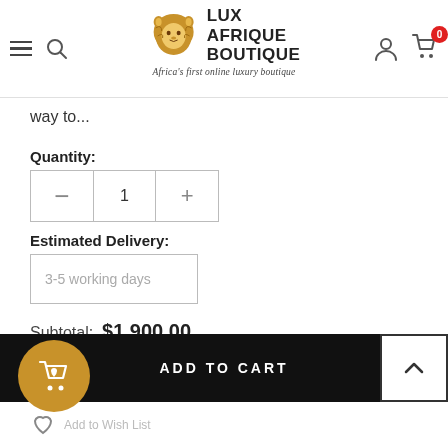LUX AFRIQUE BOUTIQUE — Africa's first online luxury boutique
way to...
Quantity:
1
Estimated Delivery:
3-5 working days
Subtotal: $1,900.00
ADD TO CART